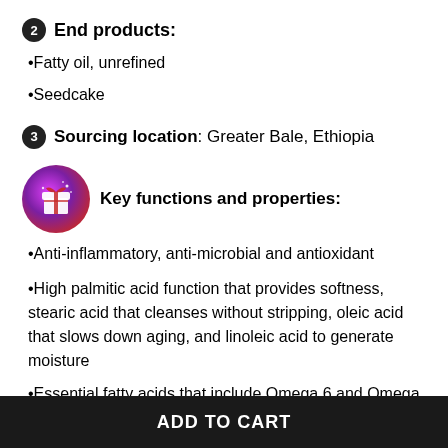❷ End products:
•Fatty oil, unrefined
•Seedcake
❸ Sourcing location: Greater Bale, Ethiopia
Key functions and properties:
•Anti-inflammatory, anti-microbial and antioxidant
•High palmitic acid function that provides softness, stearic acid that cleanses without stripping, oleic acid that slows down aging, and linoleic acid to generate moisture
•Essential fatty acids that include Omega 6 and Omega 3 to
ADD TO CART